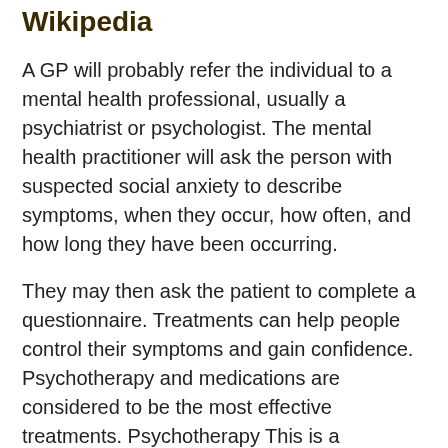Wikipedia
A GP will probably refer the individual to a mental health professional, usually a psychiatrist or psychologist. The mental health practitioner will ask the person with suspected social anxiety to describe symptoms, when they occur, how often, and how long they have been occurring.
They may then ask the patient to complete a questionnaire. Treatments can help people control their symptoms and gain confidence. Psychotherapy and medications are considered to be the most effective treatments. Psychotherapy This is a psychological treatment that uses a wide variety of techniques to help the person view themselves and their problems in a more realistic light and overcome and cope with them effectively.
There are many types of psychotherapy, including cognitive therapy, interpersonal therapy, psychodynamic therapy,